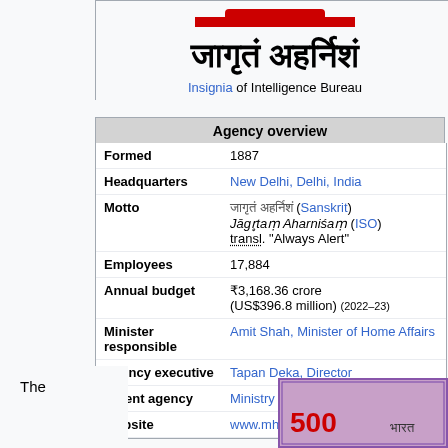[Figure (illustration): Devanagari text logo of Intelligence Bureau with Sanskrit motto]
Insignia of Intelligence Bureau
| Field | Value |
| --- | --- |
| Formed | 1887 |
| Headquarters | New Delhi, Delhi, India |
| Motto | जागृतं अहर्निशं (Sanskrit) Jāgr̥taṃ Aharniśaṃ (ISO) transl. "Always Alert" |
| Employees | 17,884 |
| Annual budget | ₹3,168.36 crore (US$396.8 million) (2022–23) |
| Minister responsible | Amit Shah, Minister of Home Affairs |
| Agency executive | Tapan Deka, Director |
| Parent agency | Ministry of Home Affairs |
| Website | www.mha.gov.in |
The
[Figure (photo): Indian postage stamp showing 500 denomination]